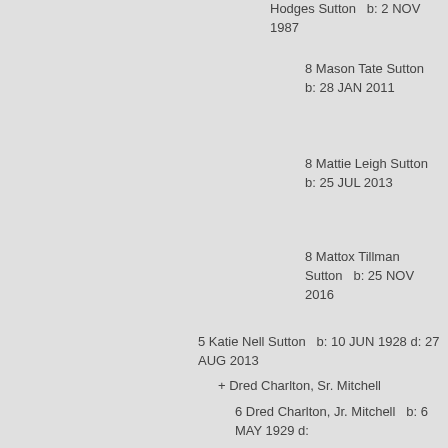Hodges Sutton   b: 2 NOV 1987
8 Mason Tate Sutton   b: 28 JAN 2011
8 Mattie Leigh Sutton   b: 25 JUL 2013
8 Mattox Tillman Sutton   b: 25 NOV 2016
5 Katie Nell Sutton   b: 10 JUN 1928 d: 27 AUG 2013
+ Dred Charlton, Sr. Mitchell
6 Dred Charlton, Jr. Mitchell   b: 6 MAY 1929 d: